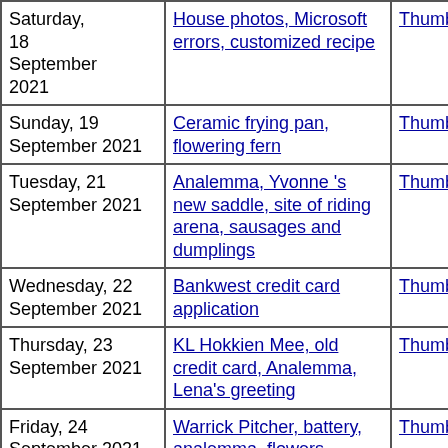| Date | Description | Thumbnails | Small photos | dia... |
| --- | --- | --- | --- | --- |
| Saturday, 18 September 2021 | House photos, Microsoft errors, customized recipe | Thumbnails | Small photos | dia... |
| Sunday, 19 September 2021 | Ceramic frying pan, flowering fern | Thumbnails | Small photos | dia... |
| Tuesday, 21 September 2021 | Analemma, Yvonne 's new saddle, site of riding arena, sausages and dumplings | Thumbnails | Small photos | dia... |
| Wednesday, 22 September 2021 | Bankwest credit card application | Thumbnails | Small photos | dia... |
| Thursday, 23 September 2021 | KL Hokkien Mee, old credit card, Analemma, Lena's greeting | Thumbnails | Small photos | dia... |
| Friday, 24 September 2021 | Warrick Pitcher, battery, analemma, flowers | Thumbnails | Small photos | dia... |
| Saturday, 25... | Dog training,... |  | Small... |  |